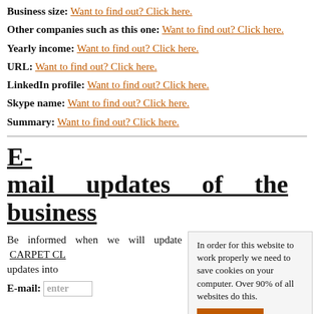Business size: Want to find out? Click here.
Other companies such as this one: Want to find out? Click here.
Yearly income: Want to find out? Click here.
URL: Want to find out? Click here.
LinkedIn profile: Want to find out? Click here.
Skype name: Want to find out? Click here.
Summary: Want to find out? Click here.
E-mail updates of the business
Be informed when we will update any of this information CARPET CL updates into
E-mail: enter
In order for this website to work properly we need to save cookies on your computer. Over 90% of all websites do this. That's fine! About cookies